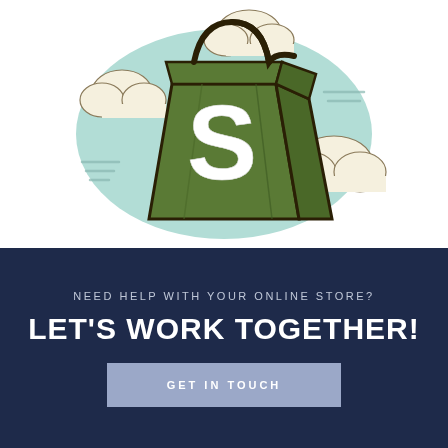[Figure (illustration): Shopify-style green shopping bag with a white 'S' letter on it, clouds around it, light teal/mint background blob, illustrated in a cartoon style]
NEED HELP WITH YOUR ONLINE STORE?
LET'S WORK TOGETHER!
GET IN TOUCH